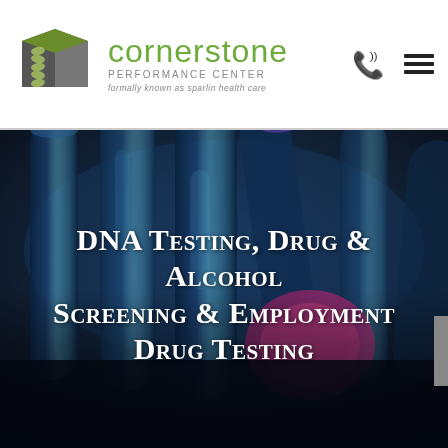[Figure (logo): Cornerstone Performance Center logo: green and gray 3D cube with spine graphic, with green text 'cornerstone', gray text 'PERFORMANCE CENTER', and italic tagline 'formally known as sparlin health care']
[Figure (photo): Dark blue-toned close-up photograph of laboratory test tubes/vials, some with colorful liquid, arranged together]
DNA Testing, Drug & Alcohol Screening & Employment Drug Testing